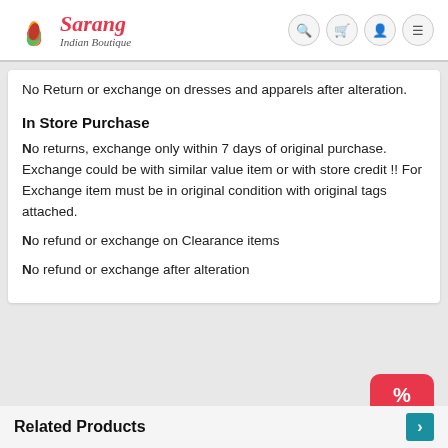Sarang Indian Boutique
No Return or exchange on dresses and apparels after alteration.
In Store Purchase
No returns, exchange only within 7 days of original purchase. Exchange could be with similar value item or with store credit !! For Exchange item must be in original condition with original tags attached.
No refund or exchange on Clearance items
No refund or exchange after alteration
Related Products